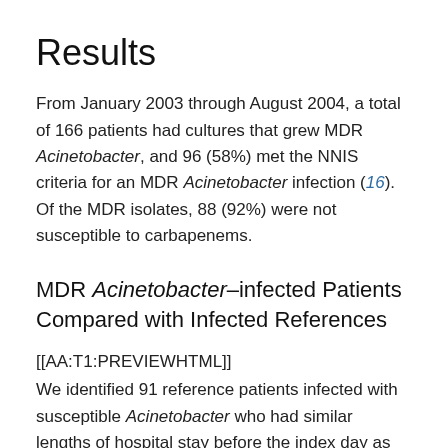Results
From January 2003 through August 2004, a total of 166 patients had cultures that grew MDR Acinetobacter, and 96 (58%) met the NNIS criteria for an MDR Acinetobacter infection (16). Of the MDR isolates, 88 (92%) were not susceptible to carbapenems.
MDR Acinetobacter–infected Patients Compared with Infected References
[[AA:T1:PREVIEWHTML]]
We identified 91 reference patients infected with susceptible Acinetobacter who had similar lengths of hospital stay before the index day as MDR Acinetobacter-infected patients. Five MDR